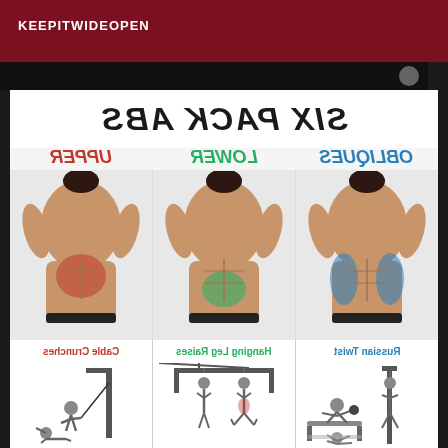KEEPITWIDEOPEN
[Figure (infographic): Six Pack Abs workout infographic showing three male torso illustrations highlighting Upper abs (red), Lower abs (green), and Obliques (blue) muscle groups, with exercise illustrations for Cable Crunches, Hanging Leg Raises, and Russian Twist. Text is mirrored/reversed.]